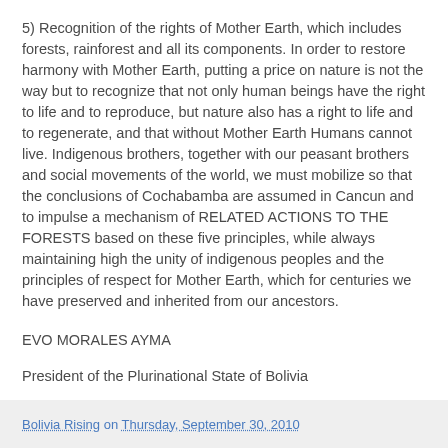5) Recognition of the rights of Mother Earth, which includes forests, rainforest and all its components. In order to restore harmony with Mother Earth, putting a price on nature is not the way but to recognize that not only human beings have the right to life and to reproduce, but nature also has a right to life and to regenerate, and that without Mother Earth Humans cannot live. Indigenous brothers, together with our peasant brothers and social movements of the world, we must mobilize so that the conclusions of Cochabamba are assumed in Cancun and to impulse a mechanism of RELATED ACTIONS TO THE FORESTS based on these five principles, while always maintaining high the unity of indigenous peoples and the principles of respect for Mother Earth, which for centuries we have preserved and inherited from our ancestors.
EVO MORALES AYMA
President of the Plurinational State of Bolivia
Bolivia Rising on Thursday, September 30, 2010